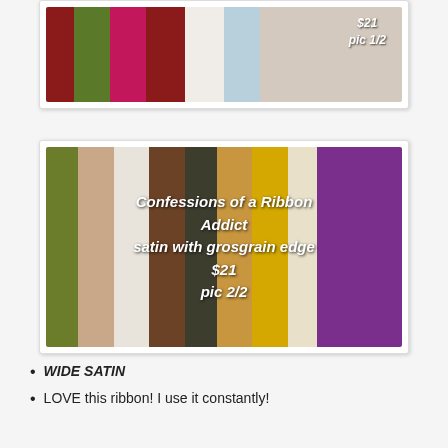[Figure (photo): Photo of multiple satin ribbons fanned out in various colors including dark red, green, magenta, burgundy, white/cream, and light blue. Text overlay reads '$21 pic 1/2' in italic bold white.]
[Figure (photo): Photo of multiple satin ribbons with grosgrain edge fanned out in colors including olive green, peach/tan, white, brown, dark olive, gold/tan, yellow, cream, and purple. Text overlay reads 'Confessions of a Ribbon Addict satin with grosgrain edge $21 pic 2/2' in italic bold white.]
WIDE SATIN
LOVE this ribbon! I use it constantly!